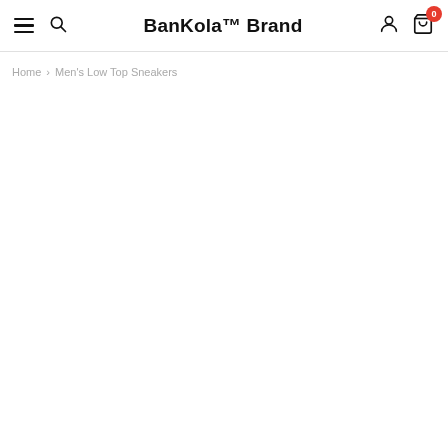BanKola™ Brand
Home > Men's Low Top Sneakers